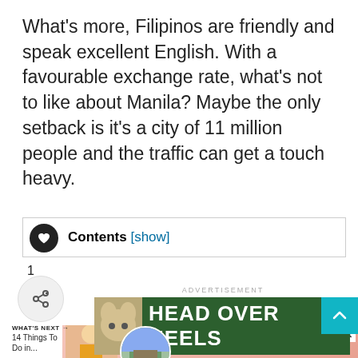What's more, Filipinos are friendly and speak excellent English. With a favourable exchange rate, what's not to like about Manila? Maybe the only setback is it's a city of 11 million people and the traffic can get a touch heavy.
Contents [show]
1
ADVERTISEMENT
[Figure (screenshot): HEAD OVER HEELS advertisement banner on dark green background with animal image]
WHAT'S NEXT → 14 Things To Do in...
[Figure (screenshot): Actions speak louder than words. advertisement banner on pink/coral background]